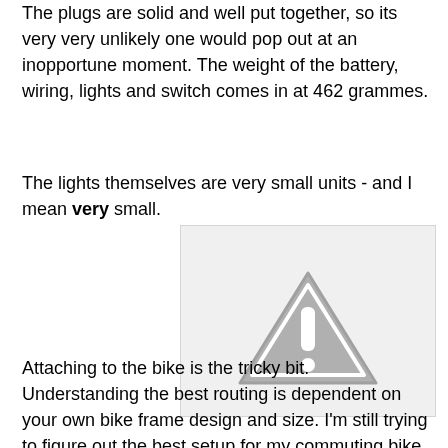The plugs are solid and well put together, so its very very unlikely one would pop out at an inopportune moment. The weight of the battery, wiring, lights and switch comes in at 462 grammes.
The lights themselves are very small units - and I mean very small.
[Figure (other): Placeholder image with a grey warning/caution triangle icon on a light grey background with border]
Attaching to the bike is the tricky bit. Understanding the best routing is dependent on your own bike frame design and size. I'm still trying to figure out the best setup for my commuting bike, but for now, I've the wire for the rear light